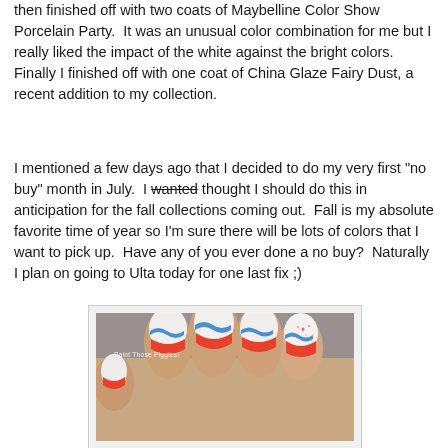then finished off with two coats of Maybelline Color Show Porcelain Party.  It was an unusual color combination for me but I really liked the impact of the white against the bright colors.  Finally I finished off with one coat of China Glaze Fairy Dust, a recent addition to my collection.
I mentioned a few days ago that I decided to do my very first "no buy" month in July.  I wanted thought I should do this in anticipation for the fall collections coming out.  Fall is my absolute favorite time of year so I'm sure there will be lots of colors that I want to pick up.  Have any of you ever done a no buy?  Naturally I plan on going to Ulta today for one last fix ;)
[Figure (photo): Close-up photo of a hand showing painted nails with white, red, and blue nail art design. Watermark reads 'Paint Those Piggies!']